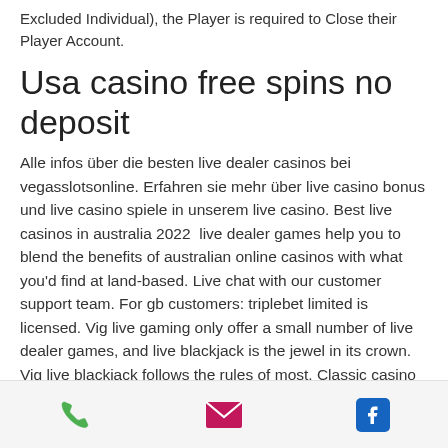Excluded Individual), the Player is required to Close their Player Account.
Usa casino free spins no deposit
Alle infos über die besten live dealer casinos bei vegasslotsonline. Erfahren sie mehr über live casino bonus und live casino spiele in unserem live casino. Best live casinos in australia 2022  live dealer games help you to blend the benefits of australian online casinos with what you'd find at land-based. Live chat with our customer support team. For gb customers: triplebet limited is licensed. Vig live gaming only offer a small number of live dealer games, and live blackjack is the jewel in its crown. Vig live blackjack follows the rules of most. Classic casino games featuring actual cards and
Phone | Email | Facebook